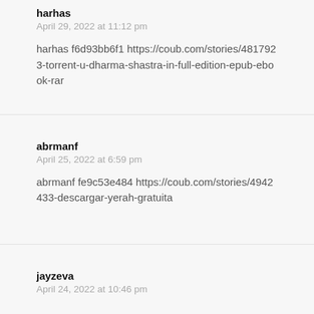harhas
April 29, 2022 at 11:12 pm
harhas f6d93bb6f1 https://coub.com/stories/4817923-torrent-u-dharma-shastra-in-full-edition-epub-ebook-rar
abrmanf
April 25, 2022 at 6:59 pm
abrmanf fe9c53e484 https://coub.com/stories/4942433-descargar-yerah-gratuita
jayzeva
April 24, 2022 at 10:46 pm